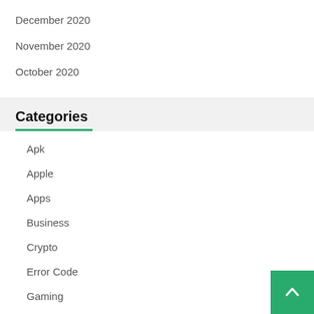December 2020
November 2020
October 2020
Categories
Apk
Apple
Apps
Business
Crypto
Error Code
Gaming